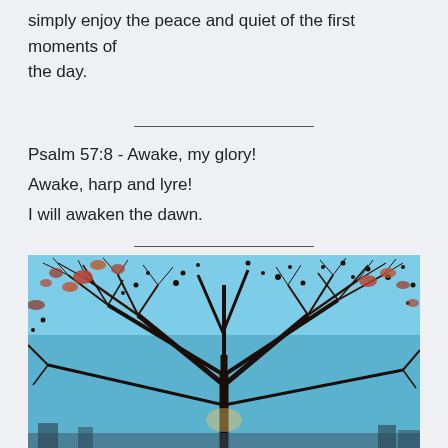simply enjoy the peace and quiet of the first moments of the day.
Psalm 57:8 - Awake, my glory!
Awake, harp and lyre!
I will awaken the dawn.
[Figure (photo): Photograph of a bare tree with sparse red/orange leaves against a bright blue sky, taken from below looking up.]